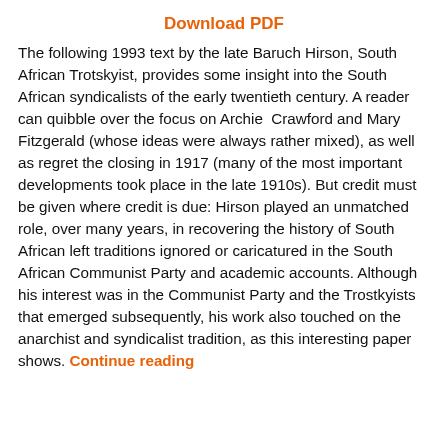Download PDF
The following 1993 text by the late Baruch Hirson, South African Trotskyist, provides some insight into the South African syndicalists of the early twentieth century. A reader can quibble over the focus on Archie Crawford and Mary Fitzgerald (whose ideas were always rather mixed), as well as regret the closing in 1917 (many of the most important developments took place in the late 1910s). But credit must be given where credit is due: Hirson played an unmatched role, over many years, in recovering the history of South African left traditions ignored or caricatured in the South African Communist Party and academic accounts. Although his interest was in the Communist Party and the Trostkyists that emerged subsequently, his work also touched on the anarchist and syndicalist tradition, as this interesting paper shows. Continue reading